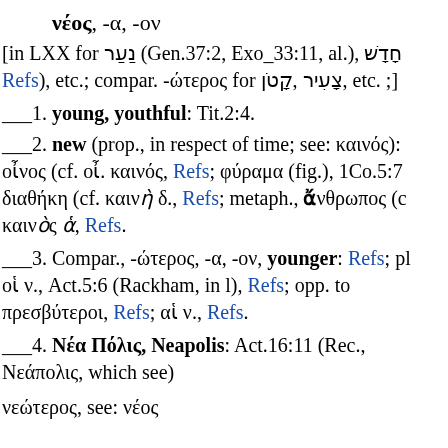νέος, -α, -ον
[in LXX for נַעַר (Gen.37:2, Exo_33:11, al.), חָדָשׁ (Refs), etc.; compar. -ώτερος for קָטֹן, צָעִיר, etc. ;]
1. young, youthful: Tit.2:4.
2. new (prop., in respect of time; see: καινός): οἶνος (cf. οἶ. καινός, Refs; φύραμα (fig.), 1Co.5:7 διαθήκη (cf. καινὴ δ., Refs; metaph., ἄνθρωπος (cf. καινὸς ἁ, Refs.
3. Compar., -ώτερος, -α, -ον, younger: Refs; pl. οἱ ν., Act.5:6 (Rackham, in l), Refs; opp. to πρεσβύτεροι, Refs; αἱ ν., Refs.
4. Νέα Πόλις, Neapolis: Act.16:11 (Rec., Νεάπολις, which see)
νεώτερος, see: νέος